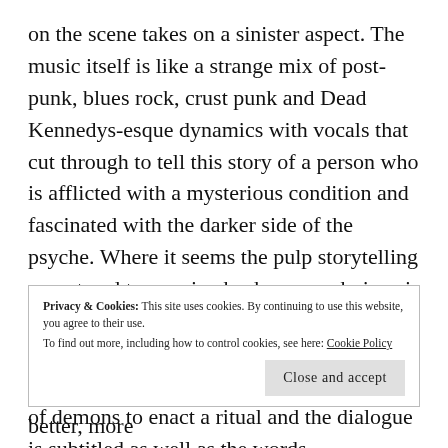on the scene takes on a sinister aspect. The music itself is like a strange mix of post-punk, blues rock, crust punk and Dead Kennedys-esque dynamics with vocals that cut through to tell this story of a person who is afflicted with a mysterious condition and fascinated with the darker side of the psyche. Where it seems the pulp storytelling aspect and tongue in cheek seems obvious is in the subtitles that come later in the video separate from the proper lyrics when The Devil makes an appearance with a company of demons to enact a ritual and the dialogue is subtitled as well as the words
Privacy & Cookies: This site uses cookies. By continuing to use this website, you agree to their use.
To find out more, including how to control cookies, see here: Cookie Policy
Close and accept
the production is as good as any of the better, more